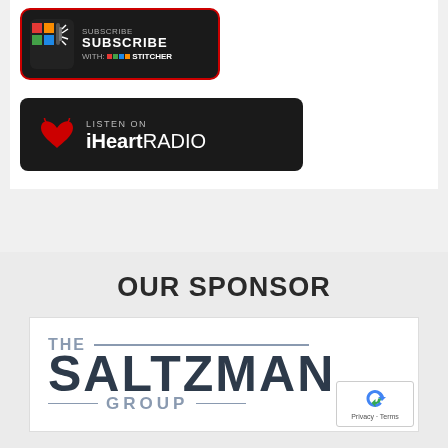[Figure (logo): Subscribe with Stitcher podcast button — black background with red border, colorful icon and white SUBSCRIBE WITH: STITCHER text]
[Figure (logo): Listen on iHeartRadio button — black rounded rectangle with iHeart logo (red heart icon) and white text]
OUR SPONSOR
[Figure (logo): The Saltzman Group logo — large dark navy text on white background with horizontal lines above and below]